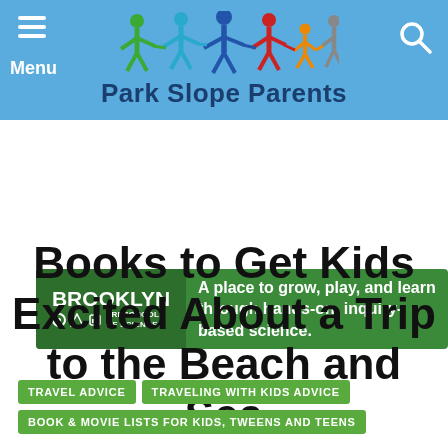Park Slope Parents
[Figure (logo): Brooklyn Preschool of Science ad banner: green background with logo and text 'A place to grow, play, and learn through hands-on, inquiry-based science.']
Books to Get Kids Excited About a Trip to the Beach and Sea
TRAVEL ADVICE
TRAVELING WITH KIDS ADVICE
BOOK & MOVIE LISTS FOR KIDS, TWEENS AND TEENS